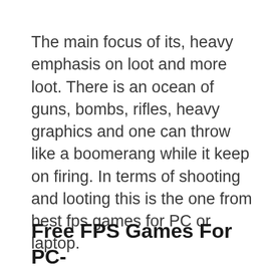The main focus of its, heavy emphasis on loot and more loot. There is an ocean of guns, bombs, rifles, heavy graphics and one can throw like a boomerang while it keep on firing. In terms of shooting and looting this is the one from best fps games for PC or laptop.
Free FPS Games For PC-